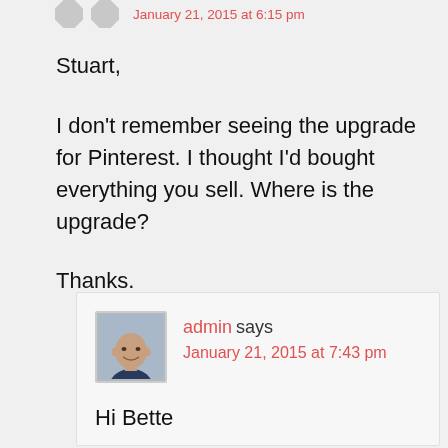January 21, 2015 at 6:15 pm
Stuart,
I don't remember seeing the upgrade for Pinterest. I thought I'd bought everything you sell. Where is the upgrade?
Thanks.
admin says
January 21, 2015 at 7:43 pm
Hi Bette